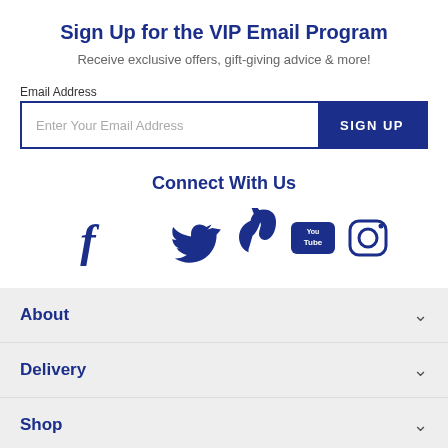Sign Up for the VIP Email Program
Receive exclusive offers, gift-giving advice & more!
Email Address
Enter Your Email Address  SIGN UP
Connect With Us
[Figure (infographic): Social media icons: Facebook, Twitter, Pinterest, YouTube, Instagram]
About
Delivery
Shop